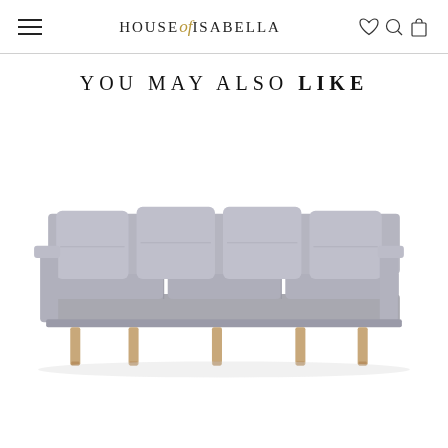HOUSE of ISABELLA
YOU MAY ALSO LIKE
[Figure (photo): A modern light grey upholstered sofa with four back cushions and four seat cushions, on slender tapered wooden legs, photographed against a white background.]